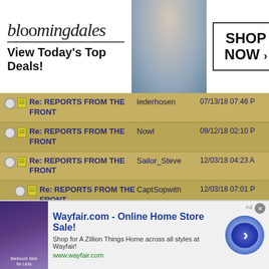[Figure (screenshot): Bloomingdale's advertisement banner: logo, 'View Today's Top Deals!', woman with hat photo, SHOP NOW button]
| Thread | Author | Date |
| --- | --- | --- |
| Re: REPORTS FROM THE FRONT | lederhosen | 07/13/18 07:46 PM |
| Re: REPORTS FROM THE FRONT | Nowl | 09/12/18 02:10 PM |
| Re: REPORTS FROM THE FRONT | Sailor_Steve | 12/03/18 04:23 AM |
| Re: REPORTS FROM THE FRONT (indented) | CaptSopwith | 12/03/18 07:01 PM |
| Re: REPORTS FROM THE FRONT | Sailor_Steve | 12/04/18 01:28 AM |
| Re: REPORTS FROM THE FRONT | lederhosen | 12/04/18 06:20 AM |
| Re: REPORTS FROM (partial) | ARUP |  |
[Figure (screenshot): Wayfair.com online home store sale advertisement banner with arrow button]